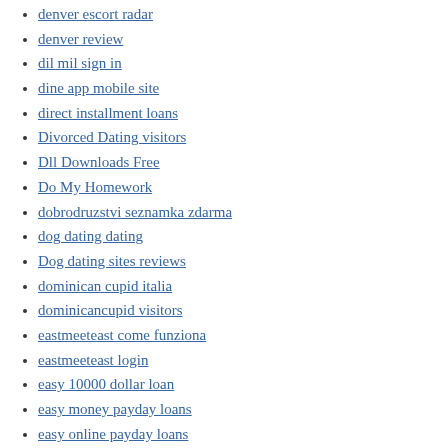denver escort radar
denver review
dil mil sign in
dine app mobile site
direct installment loans
Divorced Dating visitors
Dll Downloads Free
Do My Homework
dobrodruzstvi seznamka zdarma
dog dating dating
Dog dating sites reviews
dominican cupid italia
dominicancupid visitors
eastmeeteast come funziona
eastmeeteast login
easy 10000 dollar loan
easy money payday loans
easy online payday loans
easy payday loans
easy payday loans online
easysex dating
ebonyflirt review
edarling cs review
eharmony visiteurs
eharmony visitors
eharmony vs okcupid dating